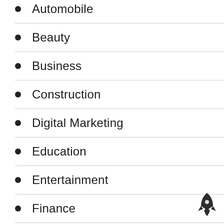Automobile
Beauty
Business
Construction
Digital Marketing
Education
Entertainment
Finance
Food